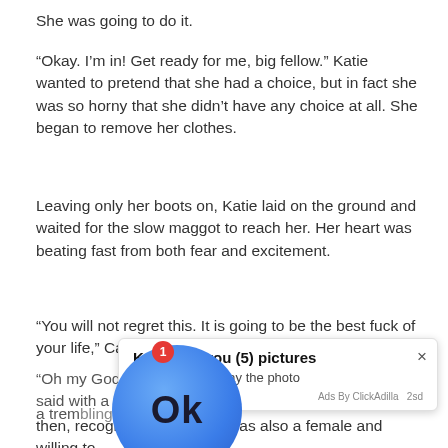She was going to do it.
“Okay. I’m in! Get ready for me, big fellow.” Katie wanted to pretend that she had a choice, but in fact she was so horny that she didn’t have any choice at all. She began to remove her clothes.
Leaving only her boots on, Katie laid on the ground and waited for the slow maggot to reach her. Her heart was beating fast from both fear and excitement.
“You will not regret this. It is going to be the best fuck of your life,” Carol said reassuringly.
“Oh my God! He is getting closer. He is so big.” Katie said with a trembling voice.
As he r… confus… body b…
[Figure (other): Ad overlay popup: Blue circular button with 'Ok' text, red notification badge with '1', and ad panel saying 'Kate sent you (5) pictures - Click OK to display the photo', with close X button and 'Ads By ClickAdilla 2sd' footer]
then, recognizing that Katie was also a female and willing to